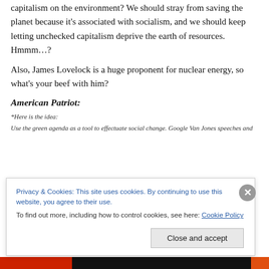capitalism on the environment? We should stray from saving the planet because it's associated with socialism, and we should keep letting unchecked capitalism deprive the earth of resources. Hmmm…?
Also, James Lovelock is a huge proponent for nuclear energy, so what's your beef with him?
American Patriot:
*Here is the idea:
Use the green agenda as a tool to effectuate social change. Google Van Jones speeches and
Privacy & Cookies: This site uses cookies. By continuing to use this website, you agree to their use. To find out more, including how to control cookies, see here: Cookie Policy
Close and accept